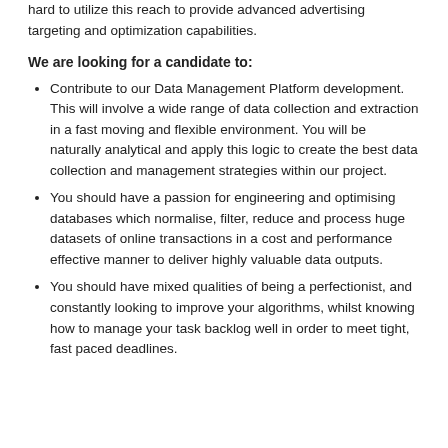hard to utilize this reach to provide advanced advertising targeting and optimization capabilities.
We are looking for a candidate to:
Contribute to our Data Management Platform development. This will involve a wide range of data collection and extraction in a fast moving and flexible environment. You will be naturally analytical and apply this logic to create the best data collection and management strategies within our project.
You should have a passion for engineering and optimising databases which normalise, filter, reduce and process huge datasets of online transactions in a cost and performance effective manner to deliver highly valuable data outputs.
You should have mixed qualities of being a perfectionist, and constantly looking to improve your algorithms, whilst knowing how to manage your task backlog well in order to meet tight, fast paced deadlines.